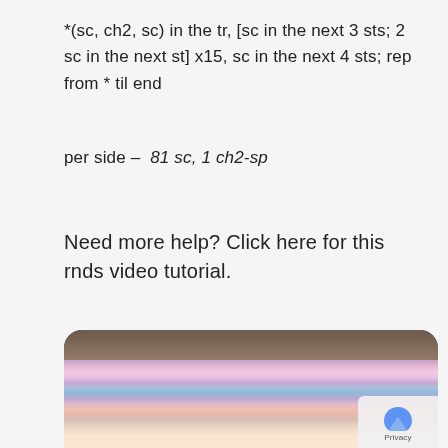*(sc, ch2, sc) in the tr, [sc in the next 3 sts; 2 sc in the next st] x15, sc in the next 4 sts; rep from * til end
per side –  81 sc, 1 ch2-sp
Need more help? Click here for this rnds video tutorial.
[Figure (photo): Photo of a colorful crochet blanket with pastel stripes (pink, purple, blue, yellow) laid on a wooden surface, showing the corner of the blanket.]